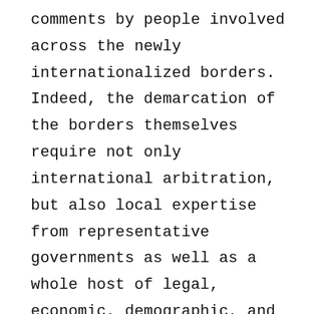comments by people involved across the newly internationalized borders. Indeed, the demarcation of the borders themselves require not only international arbitration, but also local expertise from representative governments as well as a whole host of legal, economic, demographic, and historical justifications for why certain stretches of territory ought to be included on one side of the borderline. By comparing these cross-border interactions, noting their scale, and assessing the ways in which they